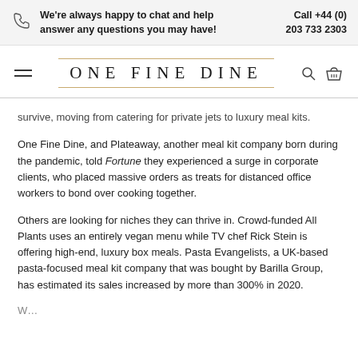We're always happy to chat and help answer any questions you may have! Call +44 (0) 203 733 2303
ONE FINE DINE
survive, moving from catering for private jets to luxury meal kits.
One Fine Dine, and Plateaway, another meal kit company born during the pandemic, told Fortune they experienced a surge in corporate clients, who placed massive orders as treats for distanced office workers to bond over cooking together.
Others are looking for niches they can thrive in. Crowd-funded All Plants uses an entirely vegan menu while TV chef Rick Stein is offering high-end, luxury box meals. Pasta Evangelists, a UK-based pasta-focused meal kit company that was bought by Barilla Group, has estimated its sales increased by more than 300% in 2020.
(truncated bottom text)